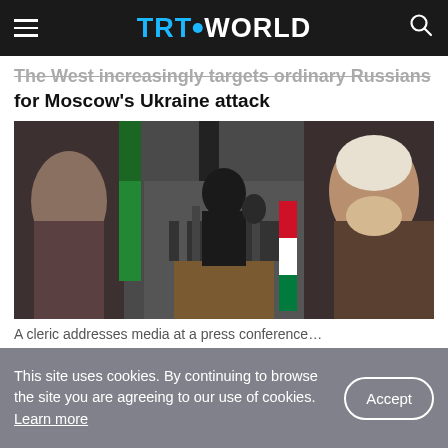TRT WORLD
The West increasingly targets ordinary Russians for Moscow's Ukraine attack
[Figure (photo): A man in black religious attire speaking at a podium surrounded by many microphones, with large portrait banners of religious figures in the background, and a green flag and an Iraqi flag visible.]
A cleric at a press conference with microphones
This site uses cookies. By continuing to browse the site you are agreeing to our use of cookies. Learn more
Accept